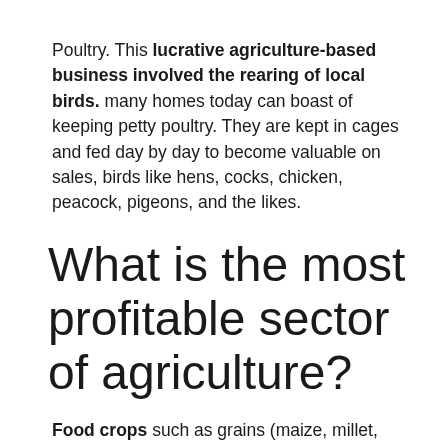Poultry. This lucrative agriculture-based business involved the rearing of local birds. many homes today can boast of keeping petty poultry. They are kept in cages and fed day by day to become valuable on sales, birds like hens, cocks, chicken, peacock, pigeons, and the likes.
What is the most profitable sector of agriculture?
Food crops such as grains (maize, millet,